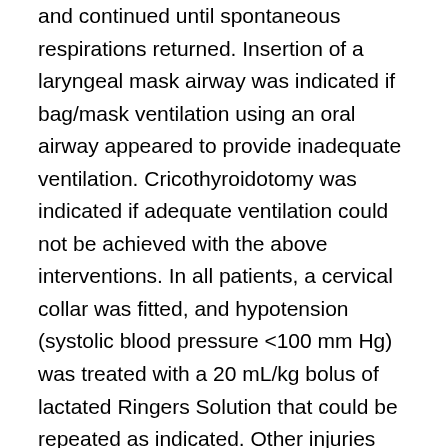and continued until spontaneous respirations returned. Insertion of a laryngeal mask airway was indicated if bag/mask ventilation using an oral airway appeared to provide inadequate ventilation. Cricothyroidotomy was indicated if adequate ventilation could not be achieved with the above interventions. In all patients, a cervical collar was fitted, and hypotension (systolic blood pressure <100 mm Hg) was treated with a 20 mL/kg bolus of lactated Ringers Solution that could be repeated as indicated. Other injuries such as fractures were treated as required. In the hospital emergency department, patients who were not intubated underwent immediate RSI by a physician prior to chest x-ray and computed tomography head scan.
Follow up
At 6 months following injury, surviving patients or their